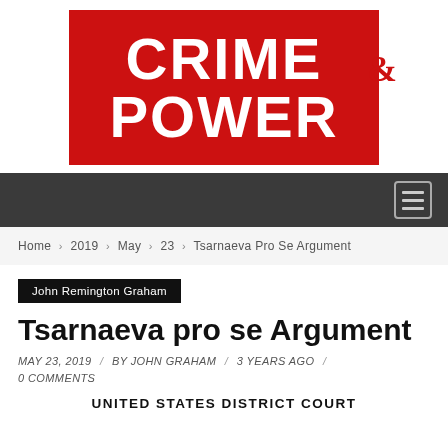[Figure (logo): Crime & Power logo — red rectangle with white bold text CRIME on top line and POWER on bottom line, with red ampersand symbol to the right]
Navigation bar with hamburger menu icon
Home > 2019 > May > 23 > Tsarnaeva Pro Se Argument
John Remington Graham
Tsarnaeva pro se Argument
MAY 23, 2019 / BY JOHN GRAHAM / 3 YEARS AGO / 0 COMMENTS
UNITED STATES DISTRICT COURT